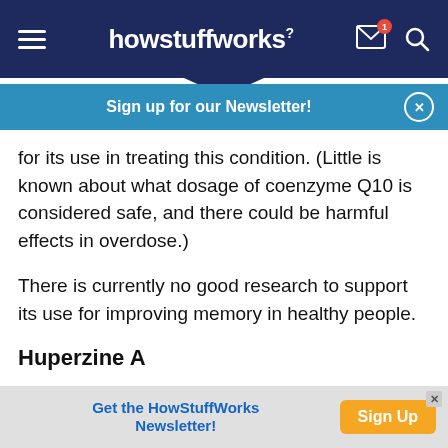howstuffworks
Sign up for our Newsletter!
for its use in treating this condition. (Little is known about what dosage of coenzyme Q10 is considered safe, and there could be harmful effects in overdose.)
There is currently no good research to support its use for improving memory in healthy people.
Huperzine A
Huperzine A is an extract from a club moss
Get the HowStuffWorks Newsletter! Sign Up